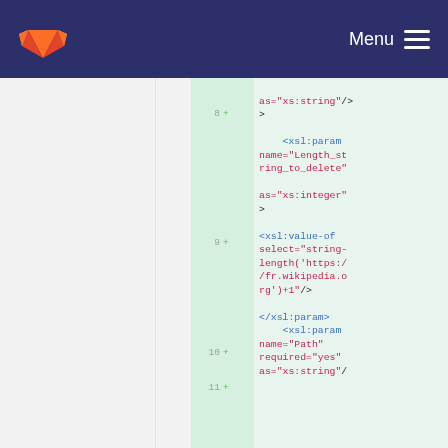GitLab — Menu
as="xs:string"/>
>
    <xsl:param
name="Length_st
ring_to_delete"

as="xs:integer"
>

<xsl:value-of
select="string-
length('https:/
/fr.wikipedia.o
rg')+1"/>

</xsl:param>
    <xsl:param
name="Path"
required="yes"
as="xs:string"/